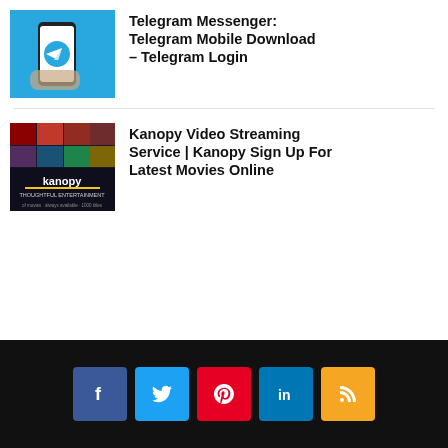[Figure (photo): Hand holding a smartphone showing Telegram app logo on blue background]
Telegram Messenger: Telegram Mobile Download – Telegram Login
[Figure (photo): Kanopy video streaming service promotional image with dark background showing movie thumbnails and Kanopy logo with tagline 'Thoughtful Entertainment']
Kanopy Video Streaming Service | Kanopy Sign Up For Latest Movies Online
Social media icons: Facebook, Twitter, Pinterest, LinkedIn, RSS